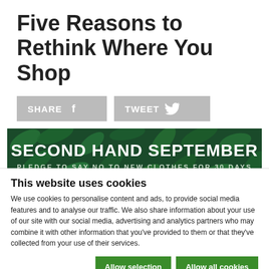Five Reasons to Rethink Where You Shop
[Figure (infographic): Share and Tweet social media buttons with Facebook and Twitter icons on grey backgrounds]
[Figure (infographic): Second Hand September banner with dark leafy background. Large text: SECOND HAND SEPTEMBER. Smaller text: PLEDGE TO SAY NO TO NEW CLOTHES FOR 30 DAYS]
This website uses cookies
We use cookies to personalise content and ads, to provide social media features and to analyse our traffic. We also share information about your use of our site with our social media, advertising and analytics partners who may combine it with other information that you've provided to them or that they've collected from your use of their services.
Allow selection | Allow all cookies
Necessary | Preferences | Statistics | Marketing | Show details